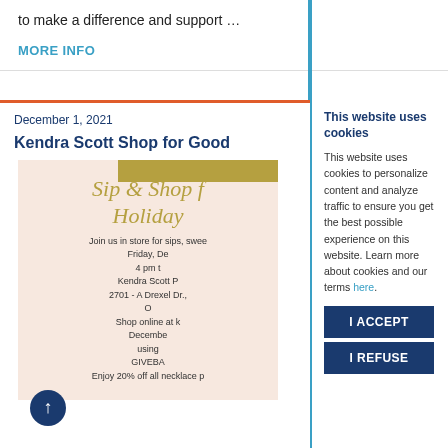to make a difference and support …
MORE INFO
December 1, 2021
Kendra Scott Shop for Good
[Figure (illustration): Flyer for Sip & Shop for the Holidays event at Kendra Scott, showing gold text on pink background with event details: Join us in store for sips, sweets, Friday, December, 4 pm, Kendra Scott, 2701 - A Drexel Dr., Shop online at k, December, using GIVEBACK, Enjoy 20% off all necklace...]
This website uses cookies
This website uses cookies to personalize content and analyze traffic to ensure you get the best possible experience on this website. Learn more about cookies and our terms here.
I ACCEPT
I REFUSE